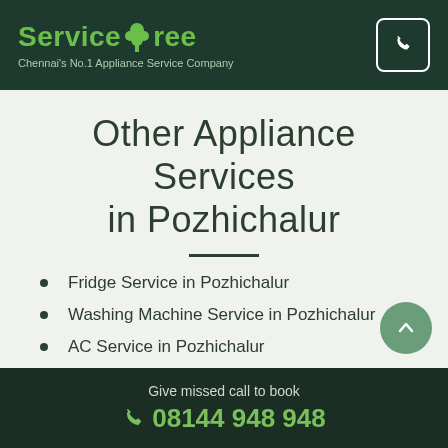ServiceTree — Chennai's No.1 Appliance Service Company
Other Appliance Services in Pozhichalur
Fridge Service in Pozhichalur
Washing Machine Service in Pozhichalur
AC Service in Pozhichalur
Give missed call to book 08144 948 948